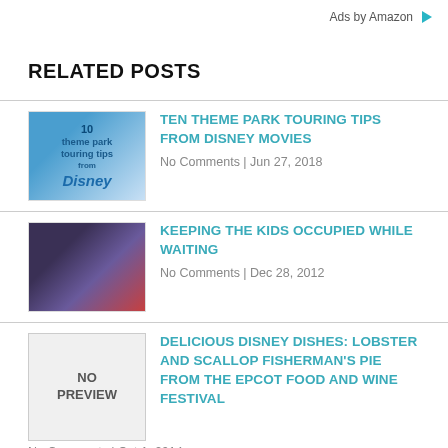Ads by Amazon
RELATED POSTS
TEN THEME PARK TOURING TIPS FROM DISNEY MOVIES | No Comments | Jun 27, 2018
KEEPING THE KIDS OCCUPIED WHILE WAITING | No Comments | Dec 28, 2012
DELICIOUS DISNEY DISHES: LOBSTER AND SCALLOP FISHERMAN'S PIE FROM THE EPCOT FOOD AND WINE FESTIVAL | No Comments | Oct 1, 2014
ROMANCE FOR MOM AND DAD AT WALT DISNEY WORLD | No Comments | Feb 13, 2015